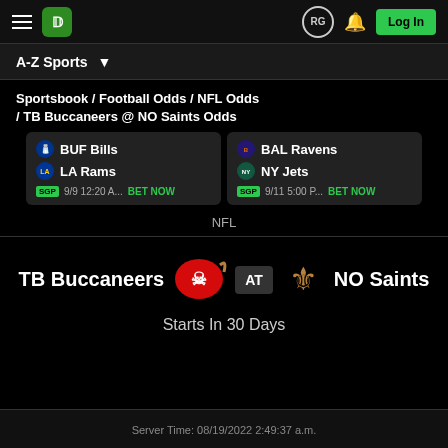[Figure (screenshot): DraftKings sportsbook navigation bar with hamburger menu, DK logo, RG badge, bell icon, and Log In button]
A-Z Sports ▼
Sportsbook / Football Odds / NFL Odds / TB Buccaneers @ NO Saints Odds
[Figure (screenshot): Game cards showing BUF Bills vs LA Rams (SGP 9/9 12:20 A... BET NOW), BAL Ravens vs NY Jets (SGP 9/11 5:00 P... BET NOW), and partial SF 49ers vs CHI Bears card]
NFL
TB Buccaneers AT NO Saints
Starts In 30 Days
Server Time: 08/19/2022 2:49:37 a.m.